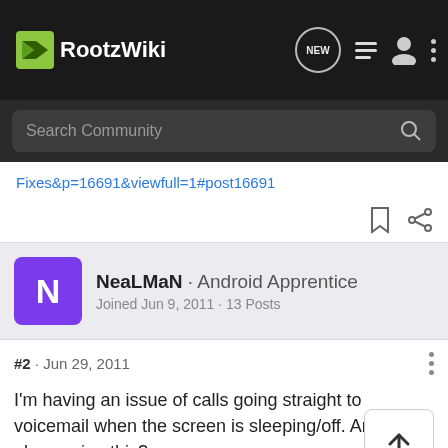RootzWiki
Fixes&p=16691&viewfull=1#post16691
NeaLMaN · Android Apprentice
Joined Jun 9, 2011 · 13 Posts
#2 · Jun 29, 2011
I'm having an issue of calls going straight to voicemail when the screen is sleeping/off. Anyone else seeing this?